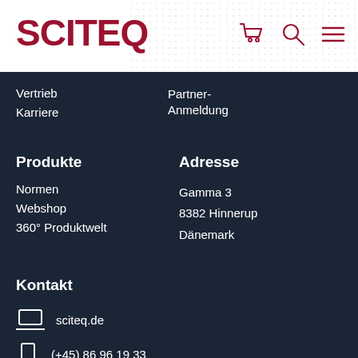SCITEQ
Vertrieb
Karriere
Partner-Anmeldung
Produkte
Normen
Webshop
360° Produktwelt
Adresse
Gamma 3
8382 Hinnerup
Dänemark
Kontakt
sciteq.de
(+45) 86 96 19 33